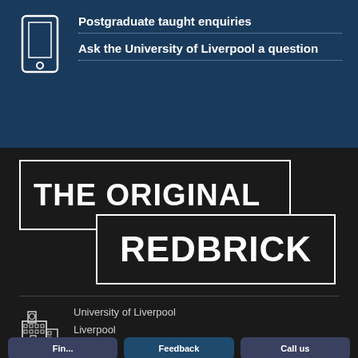[Figure (illustration): White outline icon of a tablet/mobile device on dark blue background]
Postgraduate taught enquiries
Ask the University of Liverpool a question
[Figure (logo): THE ORIGINAL REDBRICK logo - two overlapping black boxes with white text and white borders on dark background]
[Figure (illustration): White outline icon of a university building]
University of Liverpool
Liverpool
L69 3BX
Feedback
Call us